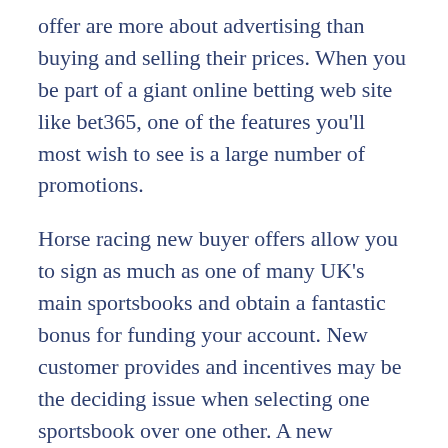offer are more about advertising than buying and selling their prices. When you be part of a giant online betting web site like bet365, one of the features you'll most wish to see is a large number of promotions.
Horse racing new buyer offers allow you to sign as much as one of many UK's main sportsbooks and obtain a fantastic bonus for funding your account. New customer provides and incentives may be the deciding issue when selecting one sportsbook over one other. A new customer supply can also offer you an extra amount of cash to wager on a giant horse race. You can discover numerous horse racing new buyer provides available with our betting partners. Bet Credits out there to be used upon settlement of bets to value of qualifying deposit. The bonus code BIGBET can be utilized throughout registration, however does not change the